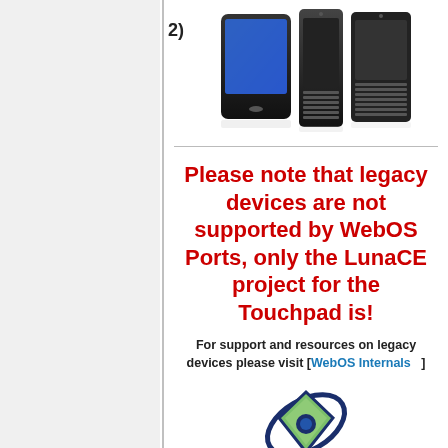[Figure (photo): Three legacy webOS smartphones shown side by side with a list item number 2)]
Please note that legacy devices are not supported by WebOS Ports, only the LunaCE project for the Touchpad is!
For support and resources on legacy devices please visit [WebOS Internals]
[Figure (logo): WebOS Internals / OpenWebOS planet/diamond logo in dark blue and green]